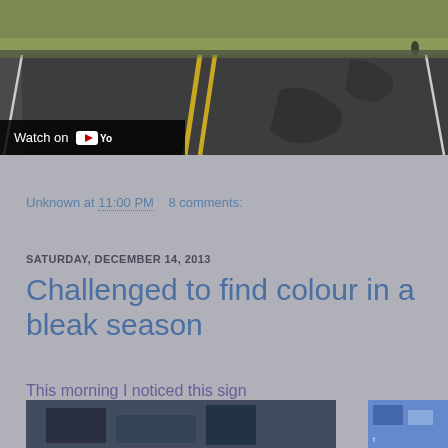[Figure (screenshot): YouTube video thumbnail showing a rural road with yellow center lines and grassy fields. An overlay reads 'Watch on YouTube' with the YouTube logo.]
Unknown at 11:00 PM   8 comments:
SATURDAY, DECEMBER 14, 2013
Challenged to find colour in a bleak season
This morning I noticed this sign
[Figure (photo): Partial bottom strip of a photograph showing a sign, partially cropped.]